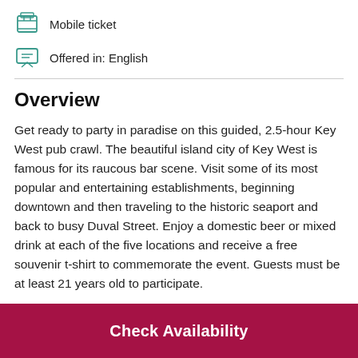Mobile ticket
Offered in: English
Overview
Get ready to party in paradise on this guided, 2.5-hour Key West pub crawl. The beautiful island city of Key West is famous for its raucous bar scene. Visit some of its most popular and entertaining establishments, beginning downtown and then traveling to the historic seaport and back to busy Duval Street. Enjoy a domestic beer or mixed drink at each of the five locations and receive a free souvenir t-shirt to commemorate the event. Guests must be at least 21 years old to participate.
Check Availability